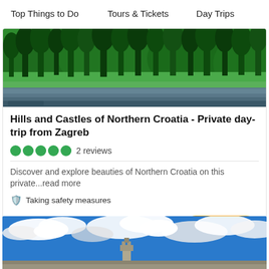Top Things to Do   Tours & Tickets   Day Trips
[Figure (photo): Green forested hills with a lake at the bottom, lush trees reflecting in still water]
Hills and Castles of Northern Croatia - Private day-trip from Zagreb
●●●●● 2 reviews
Discover and explore beauties of Northern Croatia on this private...read more
🛡 Taking safety measures
from US$180.34
[Figure (photo): Blue sky with white clouds and a castle or church tower visible at the bottom of the image]